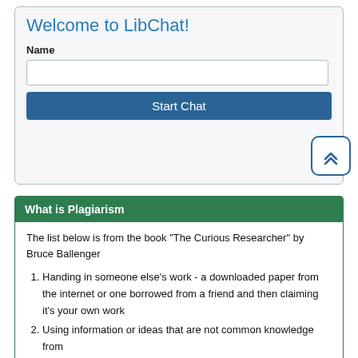Welcome to LibChat!
Name
[Figure (screenshot): LibChat widget with Name input field and Start Chat button]
What is Plagiarism
The list below is from the book "The Curious Researcher" by Bruce Ballenger
Handing in someone else's work - a downloaded paper from the internet or one borrowed from a friend and then claiming it's your own work
Using information or ideas that are not common knowledge from